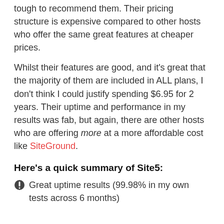tough to recommend them. Their pricing structure is expensive compared to other hosts who offer the same great features at cheaper prices.
Whilst their features are good, and it's great that the majority of them are included in ALL plans, I don't think I could justify spending $6.95 for 2 years. Their uptime and performance in my results was fab, but again, there are other hosts who are offering more at a more affordable cost like SiteGround.
Here's a quick summary of Site5:
Great uptime results (99.98% in my own tests across 6 months)